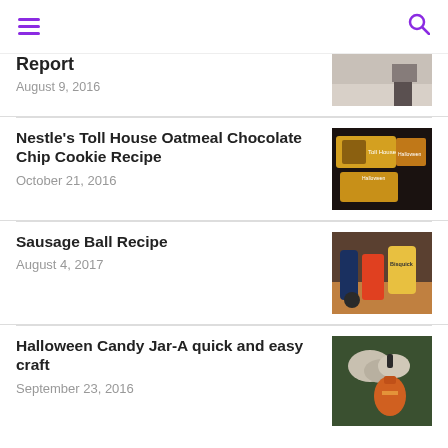☰  🔍
Report
August 9, 2016
[Figure (photo): Room/interior photo, partially visible at top of page]
Nestle's Toll House Oatmeal Chocolate Chip Cookie Recipe
October 21, 2016
[Figure (photo): Nestle Toll House Halloween chocolate chip cookie packages in yellow bags]
Sausage Ball Recipe
August 4, 2017
[Figure (photo): Bisquick box and other sausage ball ingredients on a wooden surface]
Halloween Candy Jar-A quick and easy craft
September 23, 2016
[Figure (photo): Halloween candy jar craft with pumpkin and candy jar]